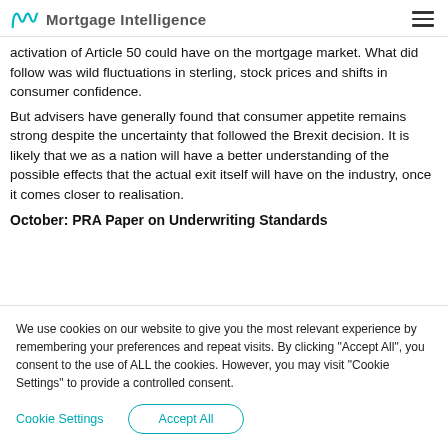Mortgage Intelligence
activation of Article 50 could have on the mortgage market. What did follow was wild fluctuations in sterling, stock prices and shifts in consumer confidence.
But advisers have generally found that consumer appetite remains strong despite the uncertainty that followed the Brexit decision. It is likely that we as a nation will have a better understanding of the possible effects that the actual exit itself will have on the industry, once it comes closer to realisation.
October: PRA Paper on Underwriting Standards
We use cookies on our website to give you the most relevant experience by remembering your preferences and repeat visits. By clicking "Accept All", you consent to the use of ALL the cookies. However, you may visit "Cookie Settings" to provide a controlled consent.